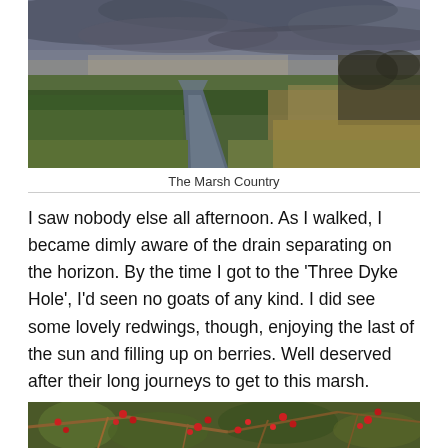[Figure (photo): Landscape photograph of marsh country showing a drainage channel/ditch running through flat green fields under a cloudy grey sky, with reed beds and bare trees in the background]
The Marsh Country
I saw nobody else all afternoon. As I walked, I became dimly aware of the drain separating on the horizon. By the time I got to the 'Three Dyke Hole', I'd seen no goats of any kind. I did see some lovely redwings, though, enjoying the last of the sun and filling up on berries. Well deserved after their long journeys to get to this marsh.
[Figure (photo): Close-up photograph of bare twigs and branches with small red berries, with green foliage in the background]